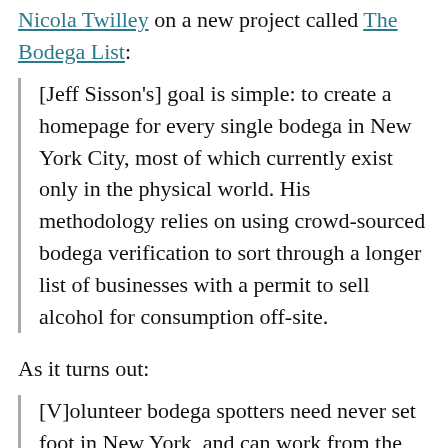Nicola Twilley on a new project called The Bodega List:
[Jeff Sisson's] goal is simple: to create a homepage for every single bodega in New York City, most of which currently exist only in the physical world. His methodology relies on using crowd-sourced bodega verification to sort through a longer list of businesses with a permit to sell alcohol for consumption off-site.
As it turns out:
[V]olunteer bodega spotters need never set foot in New York, and can work from the comfort of their homes using Google